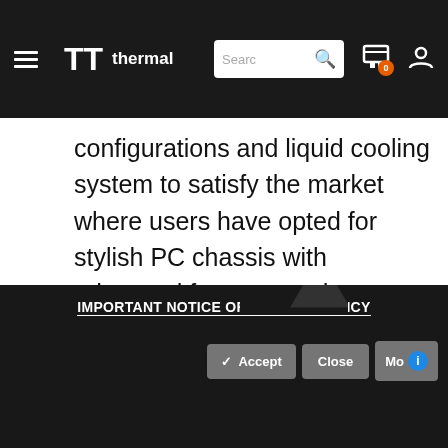Thermaltake navigation bar with logo, search, cart (0), and user icon
configurations and liquid cooling system to satisfy the market where users have opted for stylish PC chassis with advanced features and aesthetic appeal.
[Figure (logo): RGB badge logo - colored letters R (red), G (green), B (blue) in a rounded rectangle border]
[Figure (logo): Tempered Glass Inside badge - white bold text on black rounded rectangle background]
IMPORTANT NOTICE OF PRIVACY POLICY with Accept, Close, More buttons